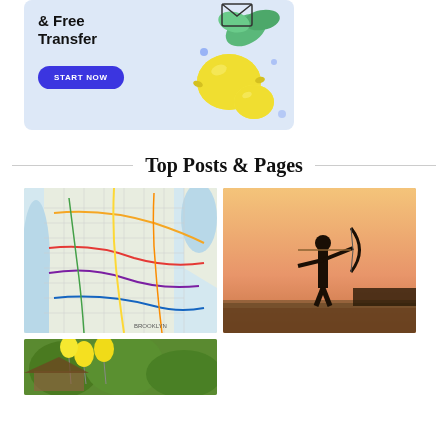[Figure (illustration): Advertisement banner with light blue background showing '& Free Transfer' headline in bold, a blue 'START NOW' button, and a lemon illustration with leaves on the right side]
Top Posts & Pages
[Figure (map): New York City subway/transit map showing colored transit lines across Manhattan, Brooklyn and surrounding boroughs with street grid overlay]
[Figure (photo): Silhouette of an archer drawing a bow against a warm golden-orange sunset sky over a flat open field]
[Figure (photo): Partial view of a garden scene with yellow balloons and green foliage/trees in the background]